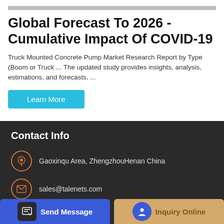Global Forecast To 2026 - Cumulative Impact Of COVID-19
Truck Mounted Concrete Pump Market Research Report by Type (Boom or Truck ... The updated study provides insights, analysis, estimations, and forecasts, ...
Learn More
Contact Info
Gaoxinqu Area, ZhengzhouHenan China
sales@talenets.com
0086-371-60922096
Send Message
Inquiry Online